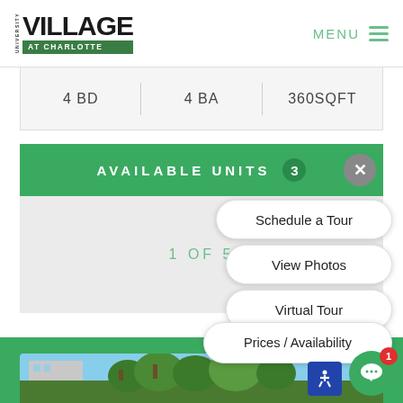UNIVERSITY VILLAGE AT CHARLOTTE — MENU
4 BD | 4 BA | 360SQFT
AVAILABLE UNITS 3
1 OF 5
Schedule a Tour
View Photos
Virtual Tour
Prices / Availability